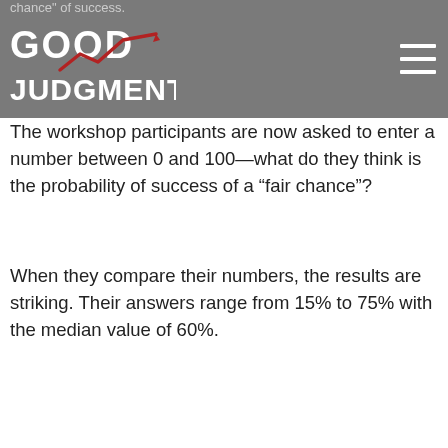chance" of success.
[Figure (logo): Good Judgment logo with stylized line chart arrow in red/dark red, white text on grey background]
The workshop participants are now asked to enter a number between 0 and 100—what do they think is the probability of success of a “fair chance”?
When they compare their numbers, the results are striking. Their answers range from 15% to 75% with the median value of 60%.